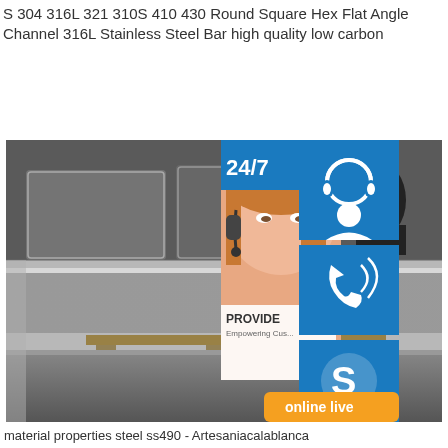S 304 316L 321 310S 410 430 Round Square Hex Flat Angle Channel 316L Stainless Steel Bar high quality low carbon
[Figure (photo): Photo of stainless steel flat sheets/plates stacked on pallets in a warehouse, wrapped in plastic. Overlaid with a customer service widget panel showing 24/7 support icons (headset, phone, Skype), a woman with a headset, text 'PROVIDE Empowering Customers', and an 'online live' orange button.]
material properties steel ss490 - Artesaniacalablanca